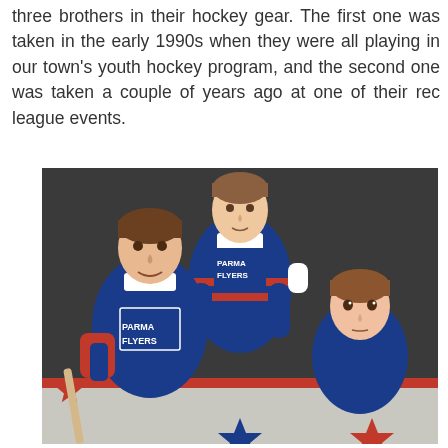three brothers in their hockey gear. The first one was taken in the early 1990s when they were all playing in our town's youth hockey program, and the second one was taken a couple of years ago at one of their rec league events.
[Figure (photo): A vintage photo from the early 1990s showing three brothers in Parma Flyers hockey jerseys. The oldest boy stands in the back center wearing a blue Parma Flyers jersey. The middle boy is on the left holding a hockey stick, also in a blue Parma Flyers jersey. The youngest boy is on the right in a blue jersey with red and blue stars.]